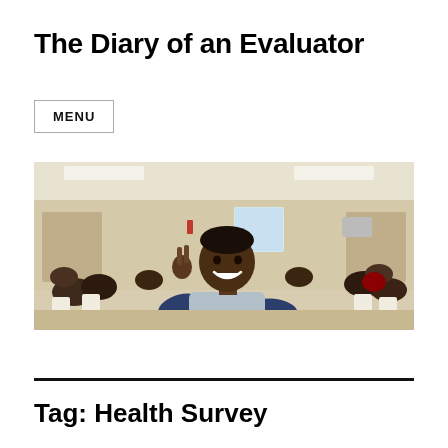The Diary of an Evaluator
MENU
[Figure (photo): A smiling man in a gray and navy raglan shirt making a peace sign in a large room filled with people seated at tables, indoor community or conference setting.]
Tag: Health Survey